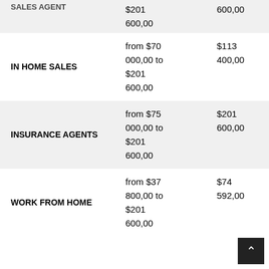| Category | Range From | Range To |
| --- | --- | --- |
| SALES AGENT (partial) | $201
600,00 | 600,00 |
| IN HOME SALES | from $70
000,00 to
$201
600,00 | $113
400,00 |
| INSURANCE AGENTS | from $75
000,00 to
$201
600,00 | $201
600,00 |
| WORK FROM HOME | from $37
800,00 to
$201
600,00 | $74
592,00 |